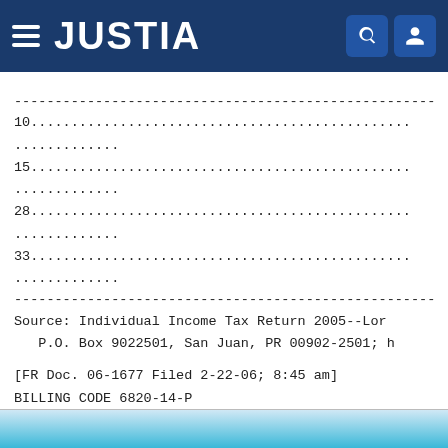JUSTIA
------------------------------------------------------------
10...............................................................
15...............................................................
28...............................................................
33...............................................................
------------------------------------------------------------
Source: Individual Income Tax Return 2005--Lon
   P.O. Box 9022501, San Juan, PR 00902-2501; h
[FR Doc. 06-1677 Filed 2-22-06; 8:45 am]
BILLING CODE 6820-14-P